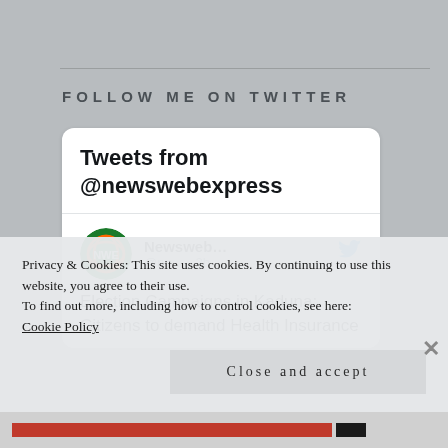FOLLOW ME ON TWITTER
[Figure (screenshot): Twitter widget showing 'Tweets from @newswebexpress' with a tweet by Newsweeb... @ne... · 2h: Election Campaigns in Kaduna: Citizens to demand Health Insurance]
Privacy & Cookies: This site uses cookies. By continuing to use this website, you agree to their use.
To find out more, including how to control cookies, see here:
Cookie Policy
Close and accept